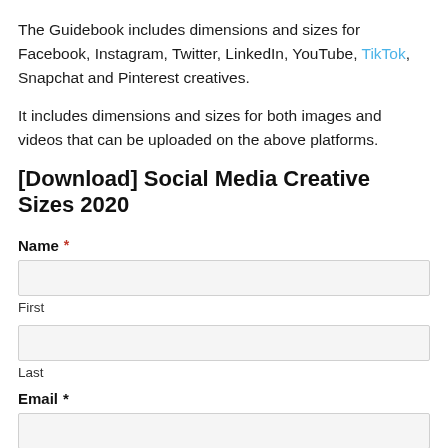The Guidebook includes dimensions and sizes for Facebook, Instagram, Twitter, LinkedIn, YouTube, TikTok, Snapchat and Pinterest creatives.
It includes dimensions and sizes for both images and videos that can be uploaded on the above platforms.
[Download] Social Media Creative Sizes 2020
Name * [First field] [Last field]
Email *